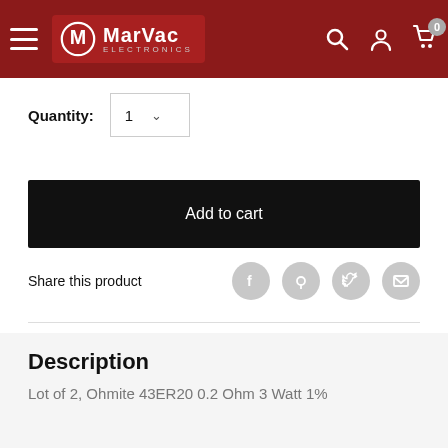[Figure (screenshot): MarVac Electronics website header with hamburger menu, logo, search, account, and cart icons on dark red background]
Quantity:
1
Add to cart
Share this product
Description
Lot of 2, Ohmite 43ER20 0.2 Ohm 3 Watt 1%